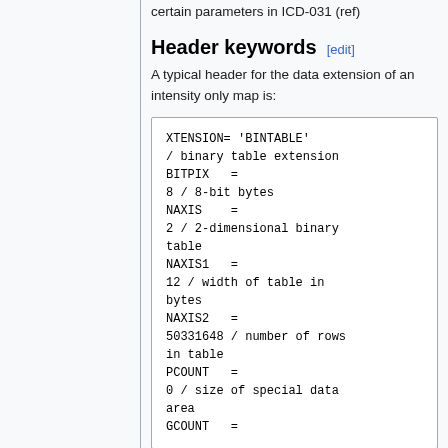certain parameters in ICD-031 (ref)
Header keywords [edit]
A typical header for the data extension of an intensity only map is: